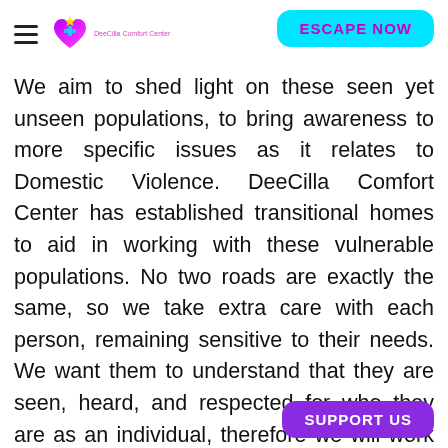DeeCilla Comfort Center — navigation header with logo and ESCAPE NOW button
We aim to shed light on these seen yet unseen populations, to bring awareness to more specific issues as it relates to Domestic Violence. DeeCilla Comfort Center has established transitional homes to aid in working with these vulnerable populations. No two roads are exactly the same, so we take extra care with each person, remaining sensitive to their needs. We want them to understand that they are seen, heard, and respected for who they are as an individual, therefore we will work tirelessly to help meet their needs and help Change Their Life!